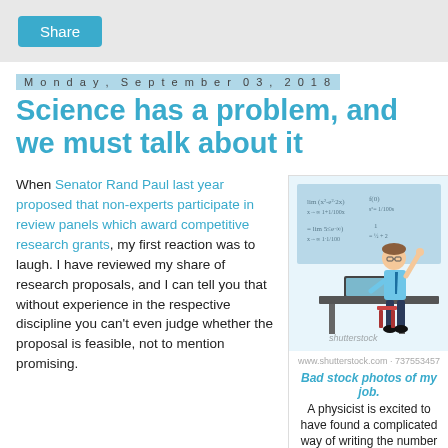Share
Monday, September 03, 2018
Science has a problem, and we must talk about it
When Senator Rand Paul last year proposed that non-experts participate in review panels which award competitive research grants, my first reaction was to laugh. I have reviewed my share of research proposals, and I can tell you that without experience in the respective discipline you can't even judge whether the proposal is feasible, not to mention promising.
[Figure (illustration): Cartoon illustration of a physicist excited at a desk with a laptop, surrounded by math equations on a chalkboard. Shutterstock watermark visible.]
Bad stock photos of my job. A physicist is excited to have found a complicated way of writing the number 2.